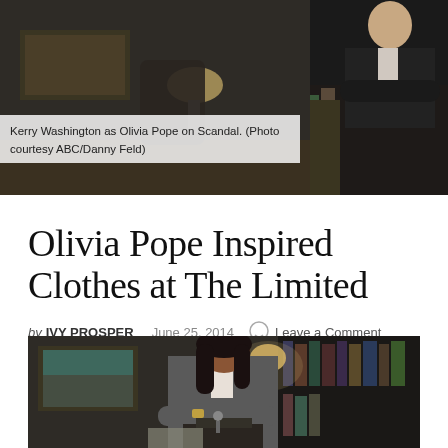[Figure (photo): Kerry Washington as Olivia Pope on Scandal, standing with arms crossed in an office setting with bookshelves in the background.]
Kerry Washington as Olivia Pope on Scandal. (Photo courtesy ABC/Danny Feld)
Olivia Pope Inspired Clothes at The Limited
by IVY PROSPER   June 25, 2014   Leave a Comment
[Figure (photo): Kerry Washington as Olivia Pope in a grey suit, arms crossed, standing in an office with bookshelves behind her.]